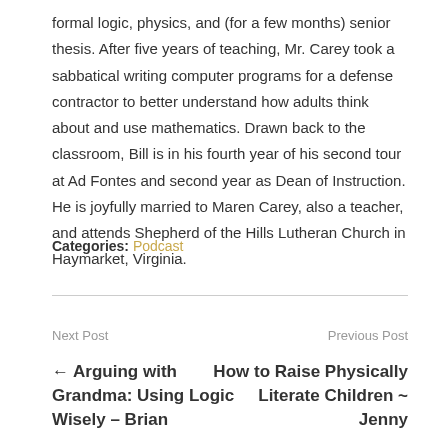formal logic, physics, and (for a few months) senior thesis. After five years of teaching, Mr. Carey took a sabbatical writing computer programs for a defense contractor to better understand how adults think about and use mathematics. Drawn back to the classroom, Bill is in his fourth year of his second tour at Ad Fontes and second year as Dean of Instruction. He is joyfully married to Maren Carey, also a teacher, and attends Shepherd of the Hills Lutheran Church in Haymarket, Virginia.
Categories: Podcast
Next Post
Previous Post
← Arguing with Grandma: Using Logic Wisely – Brian
How to Raise Physically Literate Children ~ Jenny